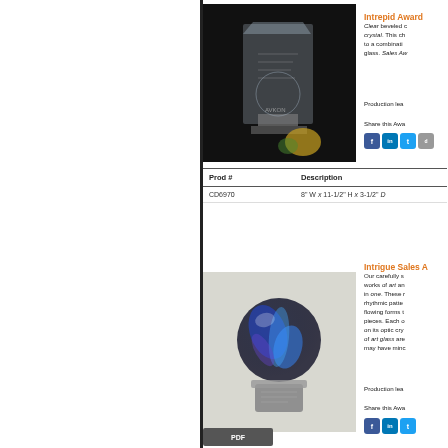[Figure (photo): Crystal award trophy with beveled design on dark background]
Intrepid Award
Clear beveled crystal. This ch to a combination glass. Sales Aw
Production lea
Share this Awa
| Prod # | Description |
| --- | --- |
| CD6970 | 8" W x 11-1/2" H x 3-1/2" D |
Intrigue Sales A
[Figure (photo): Art glass sphere with blue swirling design on crystal base]
Our carefully s works of art an in one. These r rhythmic patte flowing forms t pieces. Each o on its optic cry of art glass are may have minc
Production lea
Share this Awa